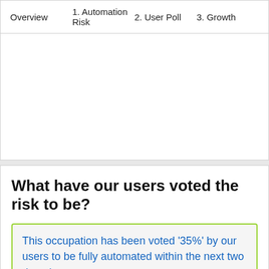Overview    1. Automation Risk    2. User Poll    3. Growth
What have our users voted the risk to be?
This occupation has been voted '35%' by our users to be fully automated within the next two decades.
Our visitors have voted that there is a small chance this occupation will be replaced by robots/AI. This